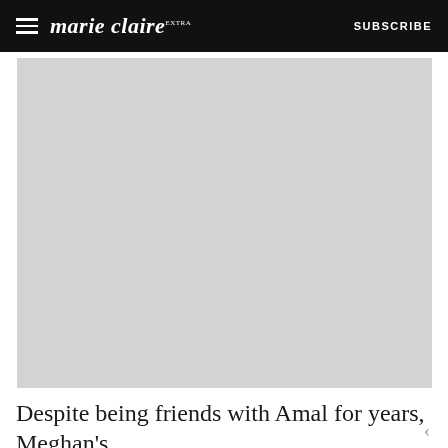marie claire — SUBSCRIBE
[Figure (photo): A large light grey placeholder image occupying most of the page below the header, representing a photograph of people.]
Despite being friends with Amal for years, Meghan's